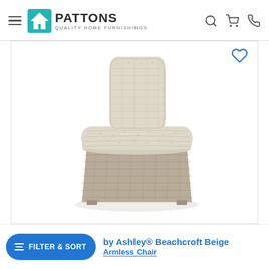Pattons Quality Home Furnishings — navigation header with hamburger menu, logo, search, cart, and phone icons
[Figure (photo): Beige wicker/rattan armless chair with thick cream cushions on seat and back, photographed on white background. The chair has a woven gray-beige wicker base and light beige fabric cushions.]
by Ashley® Beachcroft Beige
Armless Chair